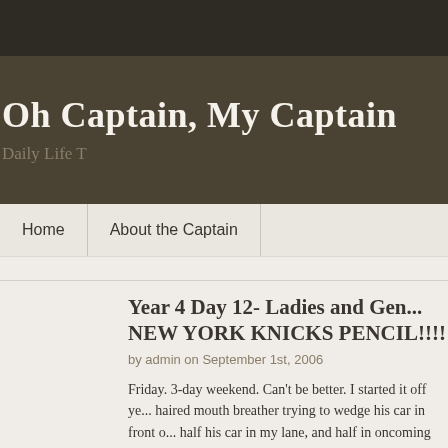Oh Captain, My Captain
Daily Life T
Home   About the Captain
Year 4 Day 12- Ladies and Gen... NEW YORK KNICKS PENCIL!!!!
by admin on September 1st, 2006
Friday. 3-day weekend. Can't be better. I started it off ye... haired mouth breather trying to wedge his car in front o... half his car in my lane, and half in oncoming traffic. He ...
Just kept on mouth breathing.